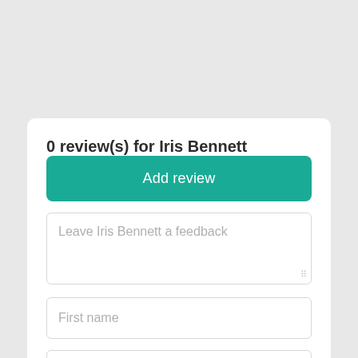0 review(s) for Iris Bennett
Add review
Leave Iris Bennett a feedback
First name
Last name